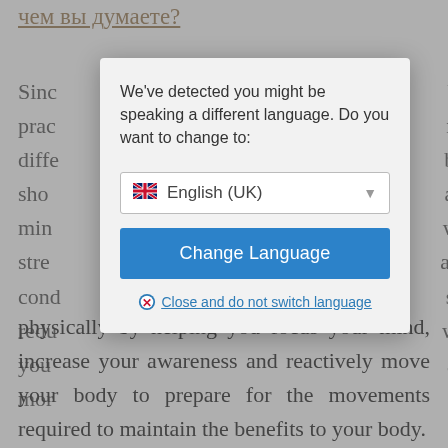чем вы думаете?
Sinc... been prac... many diffe... been sho... and min... with stre... and cond... sion redu... with you... and mor... and physically by helping you focus your mind, increase your awareness and reactively move your body to prepare for the movements required to maintain the benefits to your body.
[Figure (screenshot): Language selection modal dialog overlaying a webpage. The dialog says 'We've detected you might be speaking a different language. Do you want to change to:' with a dropdown showing a UK flag and 'English (UK)', a blue 'Change Language' button, and a 'Close and do not switch language' link with a red X icon.]